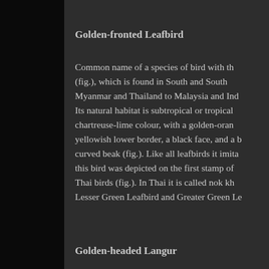Golden-fronted Leafbird
Common name of a species of bird with th... (fig.), which is found in South and South... Myanmar and Thailand to Malaysia and Ind... Its natural habitat is subtropical or tropical... chartreuse-lime colour, with a golden-oran... yellowish lower border, a black face, and a ... curved beak (fig.). Like all leafbirds it imita... this bird was depicted on the first stamp of... Thai birds (fig.). In Thai it is called nok kh... Lesser Green Leafbird and Greater Green Le...
Golden-headed Langur